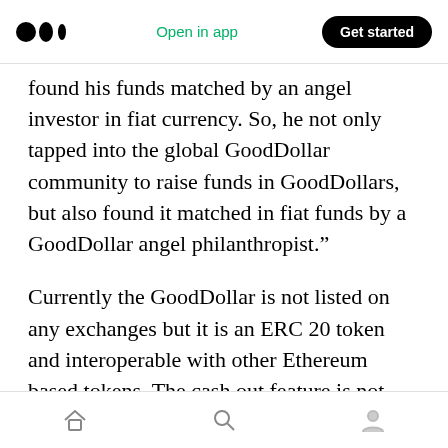Open in app | Get started
found his funds matched by an angel investor in fiat currency. So, he not only tapped into the global GoodDollar community to raise funds in GoodDollars, but also found it matched in fiat funds by a GoodDollar angel philanthropist.”
Currently the GoodDollar is not listed on any exchanges but it is an ERC 20 token and interoperable with other Ethereum based tokens. The cash out feature is not supported through the wallet or platform but the aim is to make a ramp to other cryptocurrencies.
Home | Search | Profile